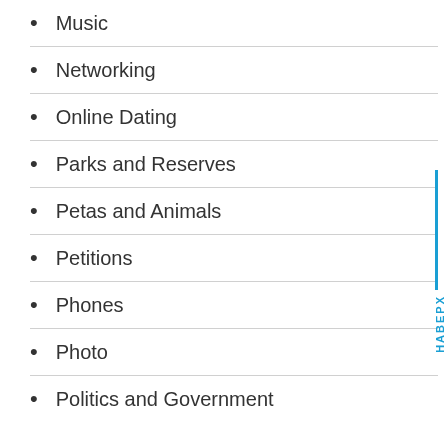Music
Networking
Online Dating
Parks and Reserves
Petas and Animals
Petitions
Phones
Photo
Politics and Government